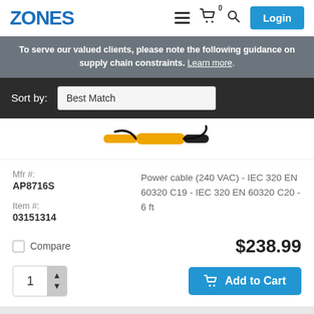ZONES
To serve our valued clients, please note the following guidance on supply chain constraints. Learn more.
Sort by: Best Match
[Figure (photo): Partial image of a power cable with yellow and black connectors]
Mfr #: AP8716S
Item #: 03151314
Power cable (240 VAC) - IEC 320 EN 60320 C19 - IEC 320 EN 60320 C20 - 6 ft
Compare
$238.99
1
Add to Cart